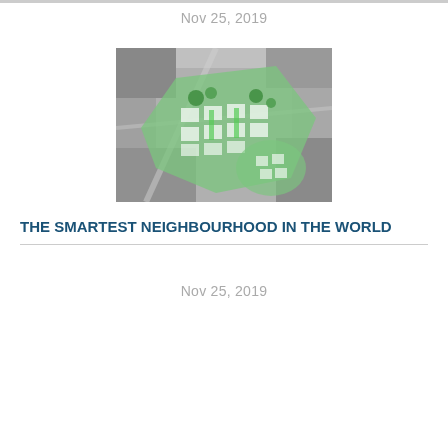Nov 25, 2019
[Figure (illustration): Aerial view / urban planning map of a neighbourhood development showing green spaces and building plots overlaid on a grayscale satellite image]
THE SMARTEST NEIGHBOURHOOD IN THE WORLD
Nov 25, 2019